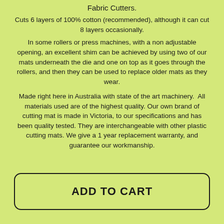Fabric Cutters.
Cuts 6 layers of 100% cotton (recommended), although it can cut 8 layers occasionally.
In some rollers or press machines, with a non adjustable opening, an excellent shim can be achieved by using two of our mats underneath the die and one on top as it goes through the rollers, and then they can be used to replace older mats as they wear.
Made right here in Australia with state of the art machinery.  All materials used are of the highest quality. Our own brand of cutting mat is made in Victoria, to our specifications and has been quality tested. They are interchangeable with other plastic cutting mats. We give a 1 year replacement warranty, and guarantee our workmanship.
ADD TO CART